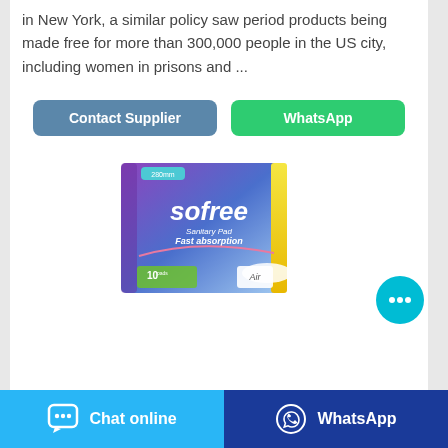in New York, a similar policy saw period products being made free for more than 300,000 people in the US city, including women in prisons and ...
[Figure (screenshot): Two buttons: 'Contact Supplier' (blue) and 'WhatsApp' (green)]
[Figure (photo): Sofree Sanitary Pad Fast absorption product box, purple/blue packaging, 280mm, 10 pads, Air technology]
[Figure (screenshot): Floating chat bubble icon in cyan circle, bottom right]
[Figure (screenshot): Footer bar with 'Chat online' button (light blue) and 'WhatsApp' button (dark blue)]